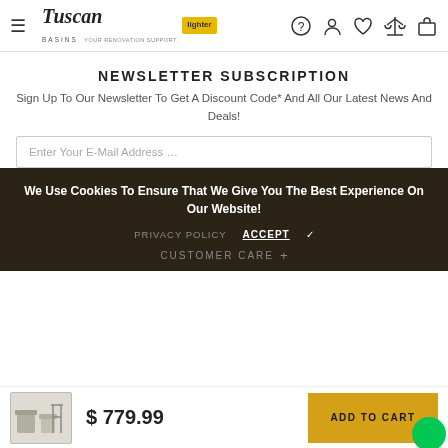Tuscan Basins — navigation header with hamburger menu, logo, and icons
NEWSLETTER SUBSCRIPTION
Sign Up To Our Newsletter To Get A Discount Code* And All Our Latest News And Deals!
Enter Your E-Mail Address …
We Use Cookies To Ensure That We Give You The Best Experience On Our Website!
PRIVACY POLICY   ACCEPT ✓
CUSTOMER CARE
$ 779.99
ADD TO CART